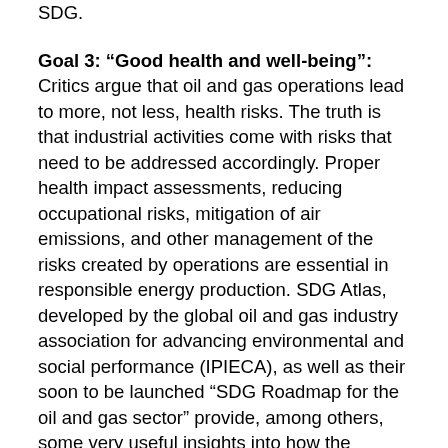SDG.
Goal 3: “Good health and well-being”: Critics argue that oil and gas operations lead to more, not less, health risks. The truth is that industrial activities come with risks that need to be addressed accordingly. Proper health impact assessments, reducing occupational risks, mitigation of air emissions, and other management of the risks created by operations are essential in responsible energy production. SDG Atlas, developed by the global oil and gas industry association for advancing environmental and social performance (IPIECA), as well as their soon to be launched “SDG Roadmap for the oil and gas sector” provide, among others, some very useful insights into how the industry advances this particular Goal.
But the oil and gas industry's contributions go further than managing the direct impacts of our operations. Much of the medical equipment used today, many of which are life-saving devices, is made from hydrocarbons: heart valves, artificial limbs, many pharmaceuticals, syringes – a huge amount of the tools doctors need to do their jobs have hydrocarbon products in them. Some of the most critical items to fight the